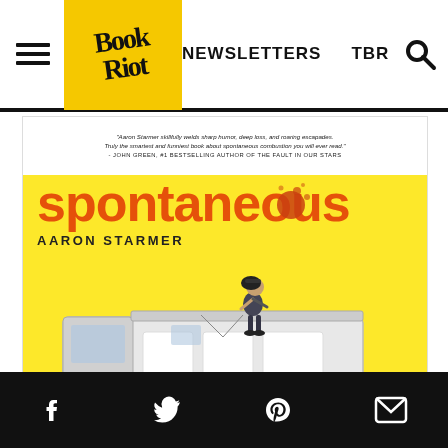Book Riot — NEWSLETTERS  TBR
[Figure (photo): Book cover of 'Spontaneous' by Aaron Starmer. Yellow background with a girl standing on top of an ice cream truck. Title in large orange text reads 'spontaneous', author name 'AARON STARMER' below. Blurb from John Green at the top on white background: 'Aaron Starmer skillfully welds sharp humor, deep loss, and rousing escapades. Truly the smartest and funniest book about spontaneous combustion you will ever read.' - JOHN GREEN, #1 BESTSELLING AUTHOR OF THE FAULT IN OUR STARS]
Social share icons: Facebook, Twitter, Pinterest, Email